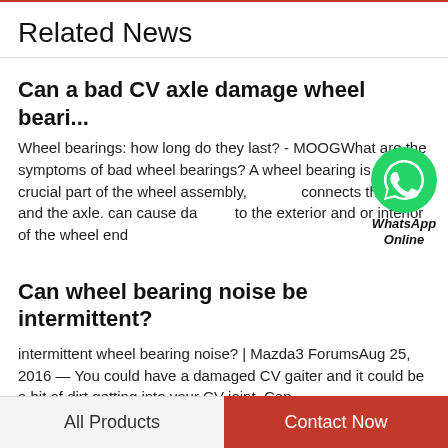Related News
Can a bad CV axle damage wheel beari...
Wheel bearings: how long do they last? - MOOGWhat are the symptoms of bad wheel bearings? A wheel bearing is a crucial part of the wheel assembly, connects the wheel and the axle. can cause da to the exterior and or interior of the wheel end
[Figure (logo): WhatsApp Online widget with green WhatsApp icon and italic text 'WhatsApp Online']
Can wheel bearing noise be intermittent?
intermittent wheel bearing noise? | Mazda3 ForumsAug 25, 2016 — You could have a damaged CV gaiter and it could be a bit of dirt getting into your CV joint. Can
All Products    Contact Now